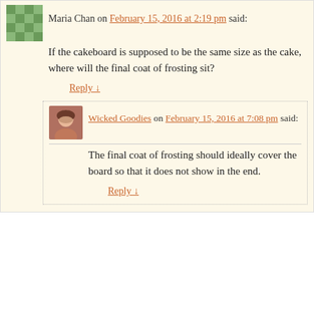Maria Chan on February 15, 2016 at 2:19 pm said:
If the cakeboard is supposed to be the same size as the cake, where will the final coat of frosting sit?
Reply ↓
Wicked Goodies on February 15, 2016 at 7:08 pm said:
The final coat of frosting should ideally cover the board so that it does not show in the end.
Reply ↓